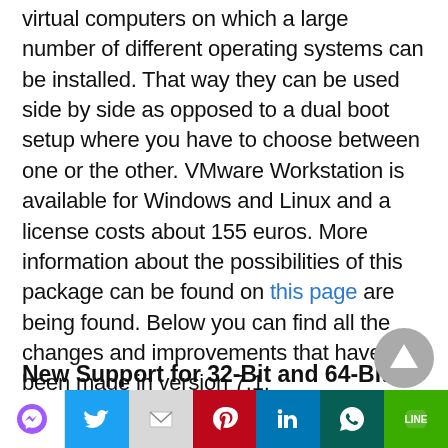virtual computers on which a large number of different operating systems can be installed. That way they can be used side by side as opposed to a dual boot setup where you have to choose between one or the other. VMware Workstation is available for Windows and Linux and a license costs about 155 euros. More information about the possibilities of this package can be found on this page are being found. Below you can find all the changes and improvements that have been made in version 7.1:
New Support for 32-Bit and 64-Bit